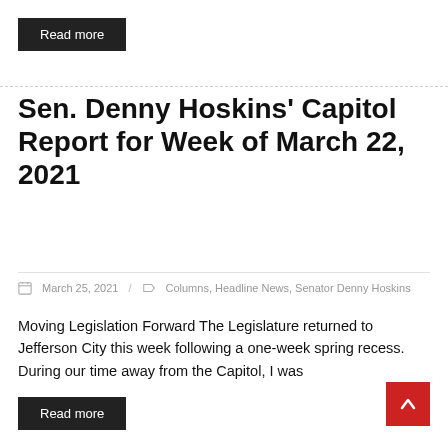Read more
Sen. Denny Hoskins' Capitol Report for Week of March 22, 2021
March 25, 2021 / Columns, Headline News, Senator Denny Hoskins
Moving Legislation Forward The Legislature returned to Jefferson City this week following a one-week spring recess. During our time away from the Capitol, I was
Read more